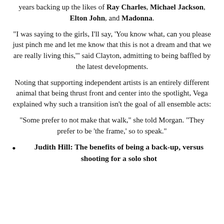years backing up the likes of Ray Charles, Michael Jackson, Elton John, and Madonna.
“I was saying to the girls, I’ll say, ‘You know what, can you please just pinch me and let me know that this is not a dream and that we are really living this,’” said Clayton, admitting to being baffled by the latest developments.
Noting that supporting independent artists is an entirely different animal that being thrust front and center into the spotlight, Vega explained why such a transition isn't the goal of all ensemble acts:
“Some prefer to not make that walk,” she told Morgan. “They prefer to be ‘the frame,’ so to speak.”
Judith Hill: The benefits of being a back-up, versus shooting for a solo shot